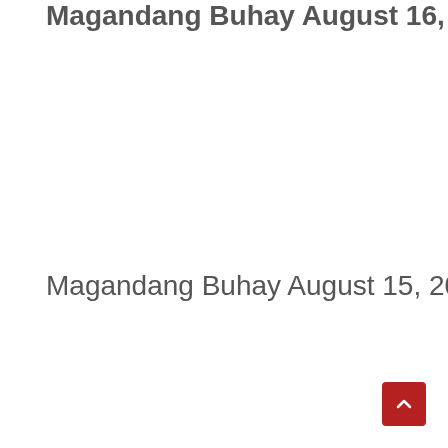Magandang Buhay August 16, 2022
Magandang Buhay August 15, 2022